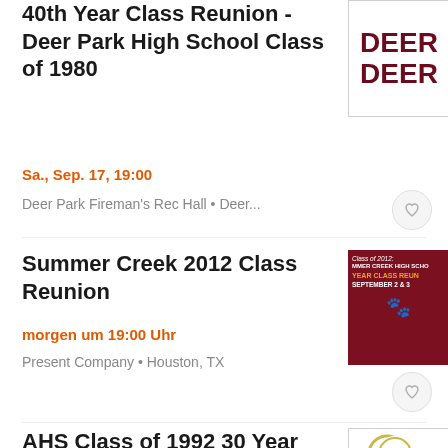40th Year Class Reunion - Deer Park High School Class of 1980
Sa., Sep. 17, 19:00
Deer Park Fireman's Rec Hall • Deer...
[Figure (logo): Deer Park logo showing text DEER repeated in dark maroon on white background]
Summer Creek 2012 Class Reunion
morgen um 19:00 Uhr
Present Company • Houston, TX
[Figure (illustration): Dark maroon event poster for Summer Creek High School Class of 2012 reunion, SEPTEMBER 2 & 3, with mascot]
AHS Class of 1992 30 Year